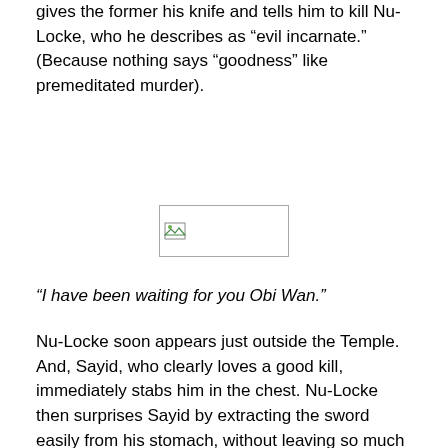gives the former his knife and tells him to kill Nu-Locke, who he describes as “evil incarnate.”  (Because nothing says “goodness” like premeditated murder).
[Figure (other): A broken/missing image placeholder icon]
“I have been waiting for you Obi Wan.”
Nu-Locke soon appears just outside the Temple.  And, Sayid, who clearly loves a good kill,  immediately stabs him in the chest.  Nu-Locke then surprises Sayid by extracting the sword easily from his stomach, without leaving so much as a pinprick behind.  Instead of teasing